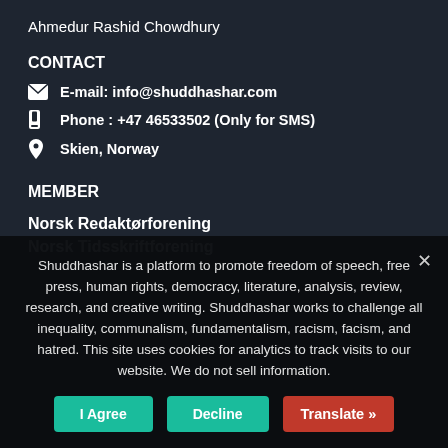Ahmedur Rashid Chowdhury
CONTACT
E-mail: info@shuddhashar.com
Phone : +47 46533502 (Only for SMS)
Skien, Norway
MEMBER
Norsk Redaktørforening
Norsk Tidsskriftforening
Shuddhashar is a platform to promote freedom of speech, free press, human rights, democracy, literature, analysis, review, research, and creative writing. Shuddhashar works to challenge all inequality, communalism, fundamentalism, racism, facism, and hatred. This site uses cookies for analytics to track visits to our website. We do not sell information.